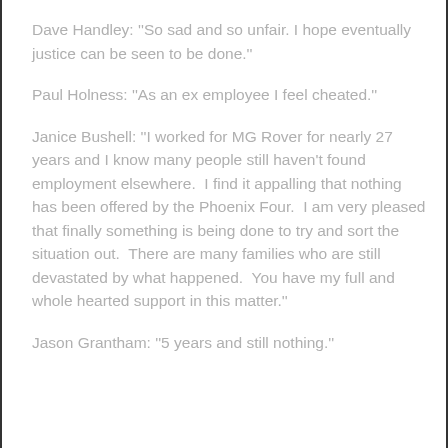Dave Handley: ''So sad and so unfair. I hope eventually justice can be seen to be done.''
Paul Holness: ''As an ex employee I feel cheated.''
Janice Bushell: ''I worked for MG Rover for nearly 27 years and I know many people still haven't found employment elsewhere.  I find it appalling that nothing has been offered by the Phoenix Four.  I am very pleased that finally something is being done to try and sort the situation out.  There are many families who are still devastated by what happened.  You have my full and whole hearted support in this matter.''
Jason Grantham: ''5 years and still nothing.''